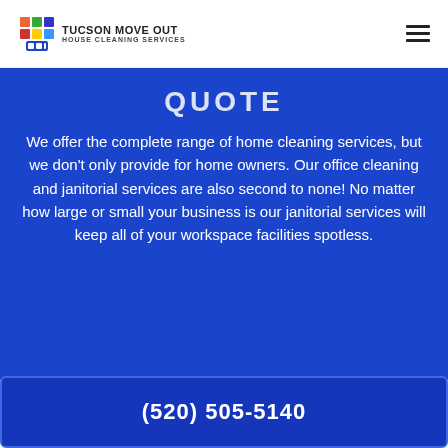TUCSON MOVE OUT HOUSE CLEANING SERVICES
QUOTE
We offer the complete range of home cleaning services, but we don't only provide for home owners. Our office cleaning and janitorial services are also second to none! No matter how large or small your business is our janitorial services will keep all of your workspace facilities spotless.
(520) 505-5140